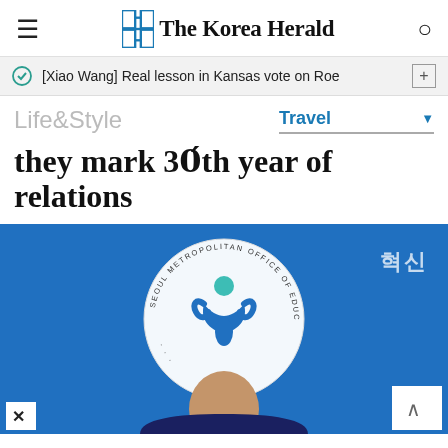The Korea Herald
[Xiao Wang] Real lesson in Kansas vote on Roe
Life&Style
Travel
they mark 30th year of relations
[Figure (photo): Photo taken at Seoul Metropolitan Office of Education backdrop, blue background with the Seoul Metropolitan Office of Education official seal/logo (circular with a stylized figure). Korean text visible top right. A person visible at the bottom of the frame.]